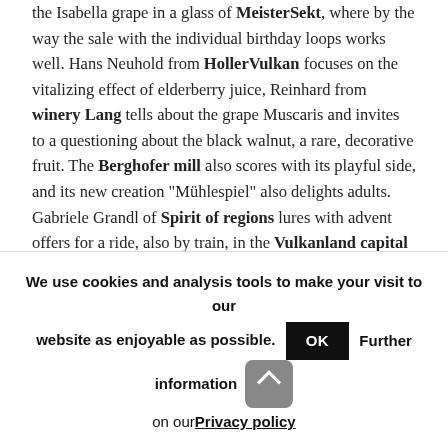the Isabella grape in a glass of MeisterSekt, where by the way the sale with the individual birthday loops works well. Hans Neuhold from HollerVulkan focuses on the vitalizing effect of elderberry juice, Reinhard from winery Lang tells about the grape Muscaris and invites to a questioning about the black walnut, a rare, decorative fruit. The Berghofer mill also scores with its playful side, and its new creation "Mühlespiel" also delights adults. Gabriele Grandl of Spirit of regions lures with advent offers for a ride, also by train, in the Vulkanland capital Feldbach. Seasonally attractive
We use cookies and analysis tools to make your visit to our website as enjoyable as possible. OK Further information on our Privacy policy